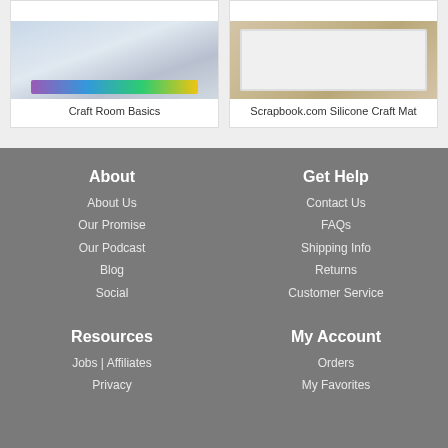[Figure (photo): Product image - Craft Room Basics with colorful stacked papers/binders]
Craft Room Basics
[Figure (photo): Product image - Scrapbook.com Silicone Craft Mat on wooden surface]
Scrapbook.com Silicone Craft Mat
About
About Us
Our Promise
Our Podcast
Blog
Social
Get Help
Contact Us
FAQs
Shipping Info
Returns
Customer Service
Resources
Jobs | Affiliates
Privacy
My Account
Orders
My Favorites